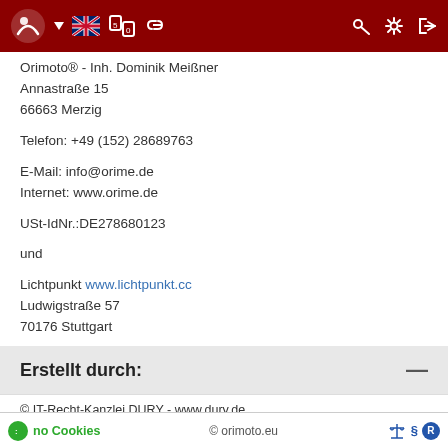Orimoto® - Inh. Dominik Meißner navigation bar
Orimoto® - Inh. Dominik Meißner
Annastraße 15
66663 Merzig
Telefon: +49 (152) 28689763
E-Mail: info@orime.de
Internet: www.orime.de
USt-IdNr.:DE278680123
und
Lichtpunkt www.lichtpunkt.cc
Ludwigstraße 57
70176 Stuttgart
Erstellt durch:
© IT-Recht-Kanzlei DURY - www.dury.de
no Cookies   © orimoto.eu